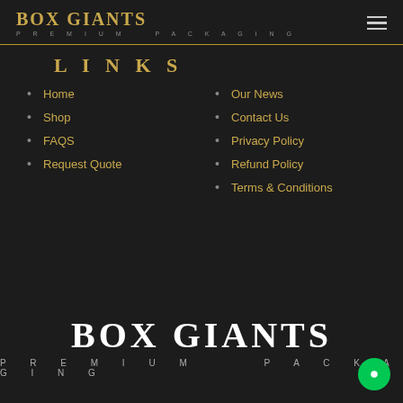BOX GIANTS PREMIUM PACKAGING
LINKS
Home
Shop
FAQS
Request Quote
Our News
Contact Us
Privacy Policy
Refund Policy
Terms & Conditions
BOX GIANTS PREMIUM PACKAGING